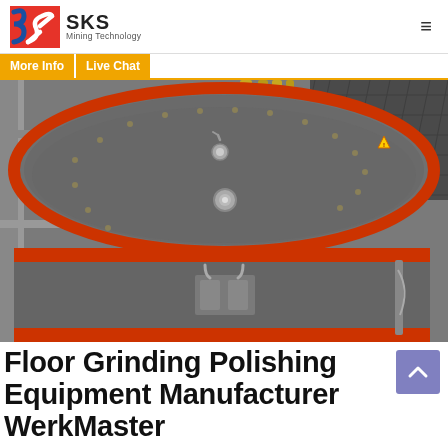[Figure (logo): SKS Mining Technology logo with red/blue icon and text]
[Figure (photo): Industrial floor grinding or ball mill equipment, large grey cylindrical drum with orange/red rings, photographed from above in a factory setting]
Floor Grinding Polishing Equipment Manufacturer WerkMaster